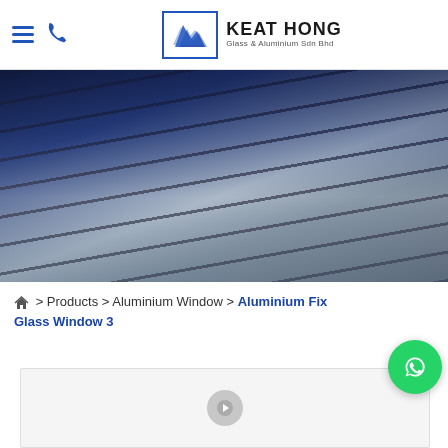KEAT HONG Glass & Aluminium Sdn Bhd
[Figure (photo): Exterior photo of a modern house with glass canopy and aluminium framing structures at night, dark blue tone]
⌂ > Products > Aluminium Window > Aluminium Fix Glass Window 3
[Figure (photo): Product image placeholder for Aluminium Fix Glass Window 3 with play button icon]